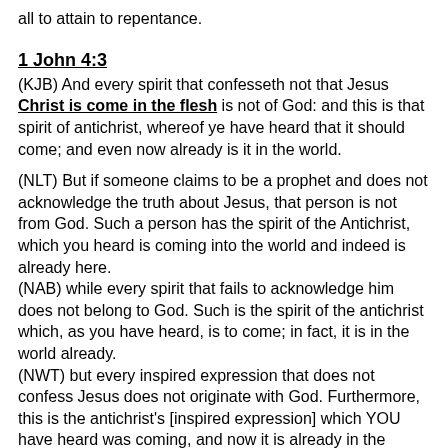all to attain to repentance.
1 John 4:3
(KJB) And every spirit that confesseth not that Jesus Christ is come in the flesh is not of God: and this is that spirit of antichrist, whereof ye have heard that it should come; and even now already is it in the world.
(NLT) But if someone claims to be a prophet and does not acknowledge the truth about Jesus, that person is not from God. Such a person has the spirit of the Antichrist, which you heard is coming into the world and indeed is already here.
(NAB) while every spirit that fails to acknowledge him does not belong to God. Such is the spirit of the antichrist which, as you have heard, is to come; in fact, it is in the world already.
(NWT) but every inspired expression that does not confess Jesus does not originate with God. Furthermore, this is the antichrist's [inspired expression] which YOU have heard was coming, and now it is already in the world.
1 John 5:13
(KJB) These things have I written unto you that believe on the name of the Son of God; that ye may know that ye have eternal life, and that ye may believe on the name of the